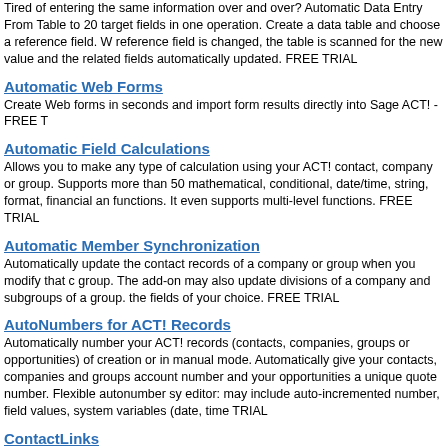Tired of entering the same information over and over? Automatic Data Entry From Table to 20 target fields in one operation. Create a data table and choose a reference field. W reference field is changed, the table is scanned for the new value and the related fields automatically updated. FREE TRIAL
Automatic Web Forms
Create Web forms in seconds and import form results directly into Sage ACT! - FREE T
Automatic Field Calculations
Allows you to make any type of calculation using your ACT! contact, company or group. Supports more than 50 mathematical, conditional, date/time, string, format, financial an functions. It even supports multi-level functions. FREE TRIAL
Automatic Member Synchronization
Automatically update the contact records of a company or group when you modify that c group. The add-on may also update divisions of a company and subgroups of a group. the fields of your choice. FREE TRIAL
AutoNumbers for ACT! Records
Automatically number your ACT! records (contacts, companies, groups or opportunities) of creation or in manual mode. Automatically give your contacts, companies and groups account number and your opportunities a unique quote number. Flexible autonumber sy editor: may include auto-incremented number, field values, system variables (date, time TRIAL
ContactLinks
Add one or more buttons to your layouts to quickly go from one contact to another. Crea one or one-to-many links. Name your relationships. FREE TRIAL.
Copy Data Between Records
Copy Data Between Records gives you a list of records to choose from in your layout. U one record, it copies data from that record into premapped fields of the current record.